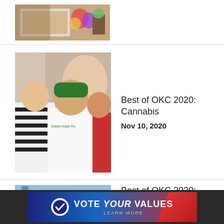[Figure (photo): Partial photo of food/flowers on a table, top-cropped]
[Figure (photo): Three people posing together in a cannabis dispensary setting; middle person wears a white Green Hope Rx shirt and green cap]
Best of OKC 2020: Cannabis
Nov 10, 2020
[Figure (photo): Aerial cityscape photo of Oklahoma City skyline with tall buildings and roads]
Best of OKC 2020: COVID
Nov 10, 2020
[Figure (infographic): Vote Your Values advertisement banner with checkmark logo, blue and red gradient background]